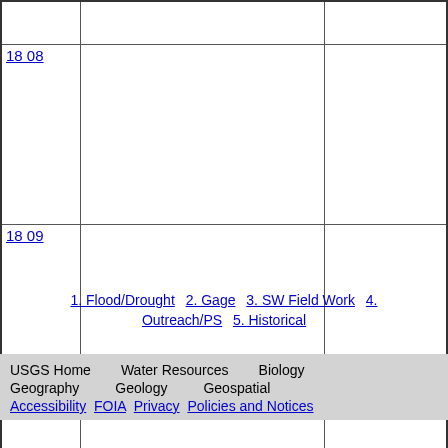| ID | Description | Value |
| --- | --- | --- |
|  |  |  |
| 18_08 |  |  |
| 18_09 |  |  |
1. Flood/Drought   2. Gage   3. SW Field Work   4. Outreach/PS   5. Historical
USGS Home   Water Resources   Biology   Geography   Geology   Geospatial   Accessibility   FOIA   Privacy   Policies and Notices